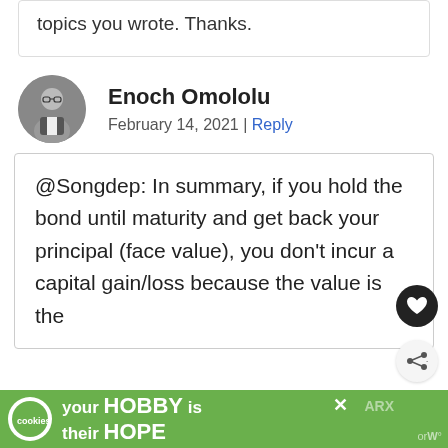topics you wrote. Thanks.
Enoch Omololu
February 14, 2021 | Reply
@Songdep: In summary, if you hold the bond until maturity and get back your principal (face value), you don't incur a capital gain/loss because the value is the